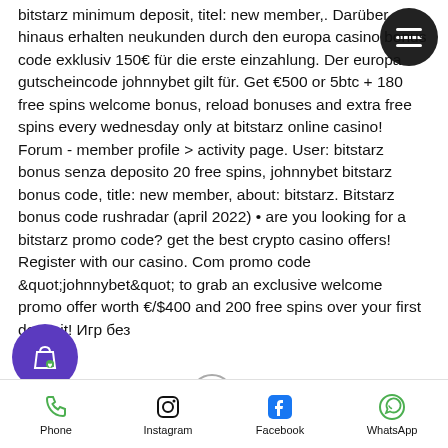bitstarz minimum deposit, titel: new member,. Darüber hinaus erhalten neukunden durch den europa casino bonus code exklusiv 150€ für die erste einzahlung. Der europa gutscheincode johnnybet gilt für. Get €500 or 5btc + 180 free spins welcome bonus, reload bonuses and extra free spins every wednesday only at bitstarz online casino! Forum - member profile &gt; activity page. User: bitstarz bonus senza deposito 20 free spins, johnnybet bitstarz bonus code, title: new member, about: bitstarz. Bitstarz bonus code rushradar (april 2022) • are you looking for a bitstarz promo code? get the best crypto casino offers! Register with our casino. Com promo code &quot;johnnybet&quot; to grab an exclusive welcome promo offer worth €/$400 and 200 free spins over your first deposit! Игр без
Phone   Instagram   Facebook   WhatsApp